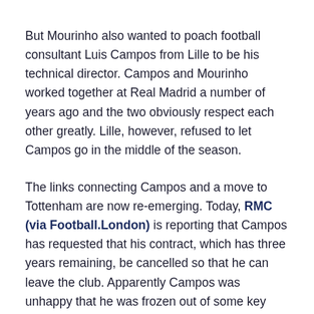But Mourinho also wanted to poach football consultant Luis Campos from Lille to be his technical director. Campos and Mourinho worked together at Real Madrid a number of years ago and the two obviously respect each other greatly. Lille, however, refused to let Campos go in the middle of the season.
The links connecting Campos and a move to Tottenham are now re-emerging. Today, RMC (via Football.London) is reporting that Campos has requested that his contract, which has three years remaining, be cancelled so that he can leave the club. Apparently Campos was unhappy that he was frozen out of some key decisions at Lille, and is ready to move on.